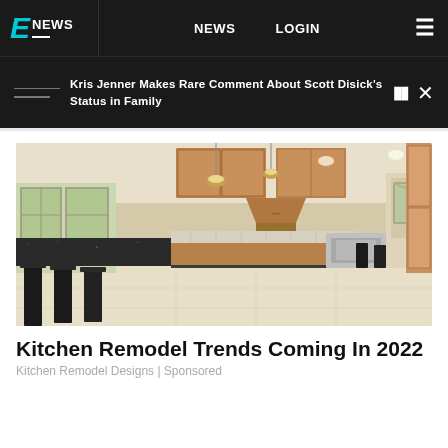E NEWS   NEWS   LOGIN
Kris Jenner Makes Rare Comment About Scott Disick's Status in Family
[Figure (photo): Interior photo of a modern kitchen with wood cabinets, granite island countertop with bar stools, stainless steel appliances, pendant lights, and light tile floor]
Kitchen Remodel Trends Coming In 2022
Kitchen Remodel Designs | Sponsored